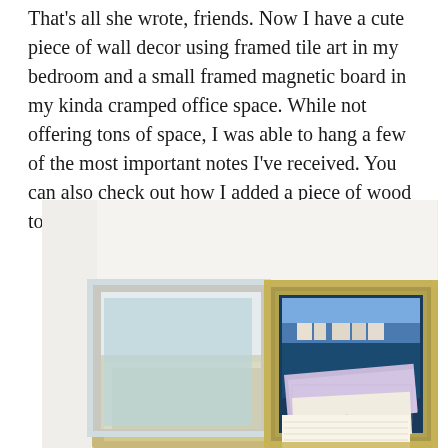That's all she wrote, friends. Now I have a cute piece of wall decor using framed tile art in my bedroom and a small framed magnetic board in my kinda cramped office space. While not offering tons of space, I was able to hang a few of the most important notes I've received. You can also check out how I added a piece of wood to my metal mail organizer.
[Figure (photo): Photo showing a whiteboard or magnetic board with framed items. On the left side, several overlapping frames and panels including light blue and beige/tan frames. On the right, an ornate gold/silver picture frame containing a scenic postcard and a 'Thank you' card with purple decorative paper.]